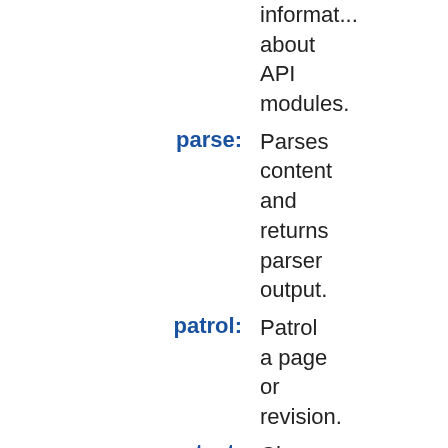information about API modules.
parse: Parses content and returns parser output.
patrol: Patrol a page or revision.
protect: Change the protection level of a page.